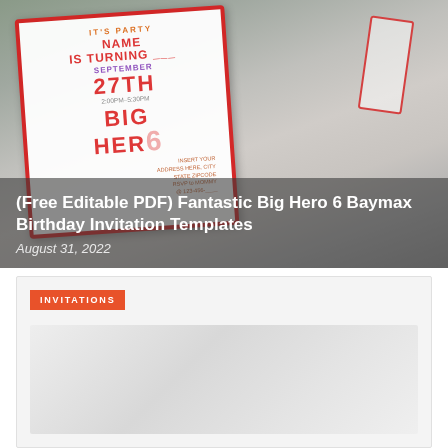[Figure (photo): A Big Hero 6 Baymax birthday party invitation card on a decorative background with greenery and party decorations. The invitation card shows text: IT'S PARTY, NAME IS TURNING ___, SEPTEMBER 27TH, 2:00PM-5:30PM, BIG HERO 6, INSERT YOUR ADDRESS HERE, CITY, STATE, ZIPCODE, RSVP to MOMMY @ 123-456-____]
(Free Editable PDF) Fantastic Big Hero 6 Baymax Birthday Invitation Templates
August 31, 2022
INVITATIONS
[Figure (photo): A second preview image related to Big Hero 6 Baymax Birthday Invitation Templates, partially visible at the bottom of the page.]